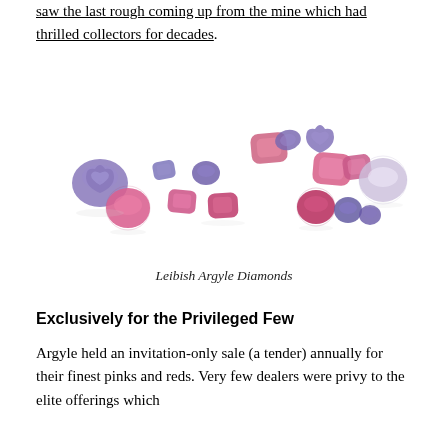saw the last rough coming up from the mine which had thrilled collectors for decades.
[Figure (photo): Collection of Leibish Argyle pink, red, and violet/blue loose diamonds of various cuts and sizes arranged in a curved cluster on white background.]
Leibish Argyle Diamonds
Exclusively for the Privileged Few
Argyle held an invitation-only sale (a tender) annually for their finest pinks and reds. Very few dealers were privy to the elite offerings which